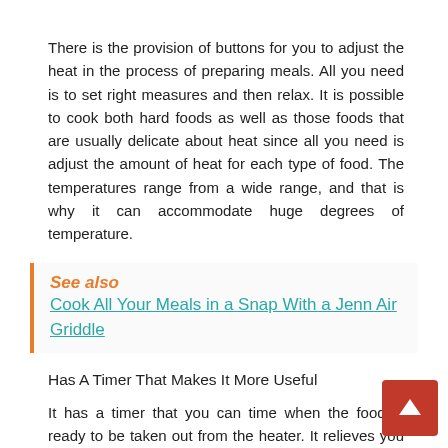There is the provision of buttons for you to adjust the heat in the process of preparing meals. All you need is to set right measures and then relax. It is possible to cook both hard foods as well as those foods that are usually delicate about heat since all you need is adjust the amount of heat for each type of food. The temperatures range from a wide range, and that is why it can accommodate huge degrees of temperature.
See also  Cook All Your Meals in a Snap With a Jenn Air Griddle
Has A Timer That Makes It More Useful
It has a timer that you can time when the food is ready to be taken out from the heater. It relieves you the point of keeping on checking inside to find out if the food is ready as you can just go anywhere as long as you have correctly fed the times. It turns off when the timing is done.